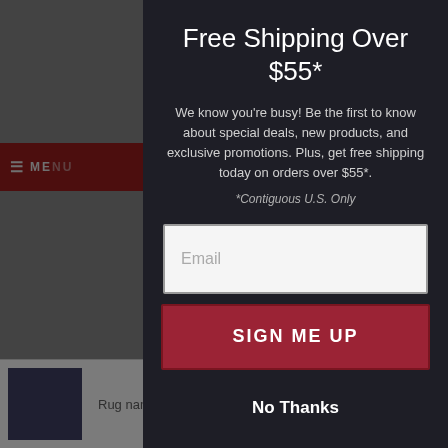[Figure (screenshot): Background of a retail website with grey overlay and dark red navigation bar, partially visible product listing at bottom]
Free Shipping Over $55*
We know you’re busy! Be the first to know about special deals, new products, and exclusive promotions. Plus, get free shipping today on orders over $55*.
*Contiguous U.S. Only
Email
SIGN ME UP
No Thanks